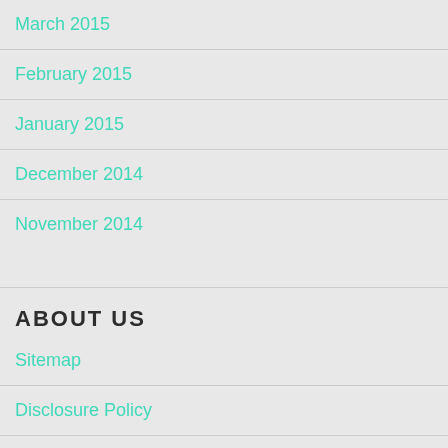March 2015
February 2015
January 2015
December 2014
November 2014
ABOUT US
Sitemap
Disclosure Policy
Advertise Here